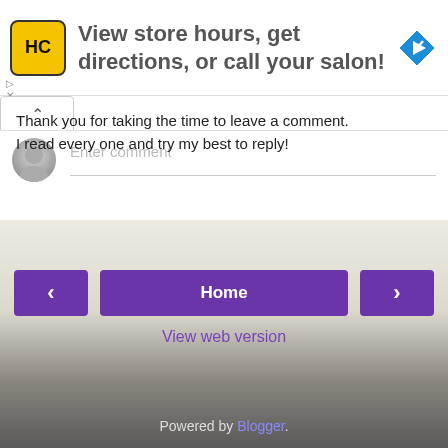[Figure (screenshot): Advertisement banner with HC logo (yellow square with HC letters), text 'View store hours, get directions, or call your salon!' and a blue navigation/directions icon on the right.]
[Figure (screenshot): Blog comment section UI showing a collapse arrow button, user avatar (grey person icon), 'Enter comment' placeholder text input field.]
Thank you for taking the time to leave a comment.
I read every one and try my best to reply!
[Figure (screenshot): Navigation row with three purple buttons: left arrow '<', center 'Home', right arrow '>'.]
View web version
[Figure (photo): Background photo of stone carved decorative element or sculpture on a wall.]
Powered by Blogger.